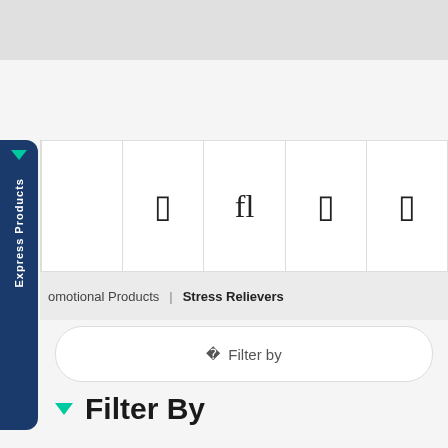[Figure (screenshot): Website screenshot showing a navigation sidebar with 'Express Products' vertical tab in dark blue with teal arrow, a row of icon cells, a breadcrumb bar showing 'omotional Products | Stress Relievers', a 'Filter by' pill button, and a 'Filter By' heading with teal arrow.]
omotional Products
Stress Relievers
Filter by
Filter By